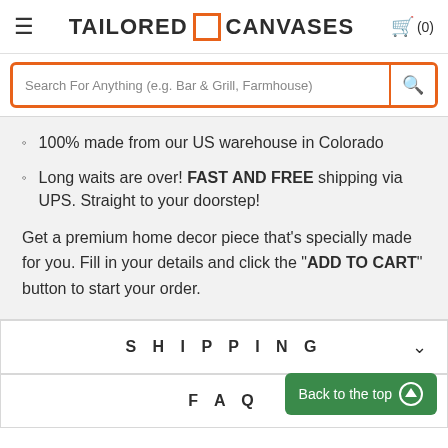TAILORED CANVASES (0)
Search For Anything (e.g. Bar & Grill, Farmhouse)
100% made from our US warehouse in Colorado
Long waits are over! FAST AND FREE shipping via UPS. Straight to your doorstep!
Get a premium home decor piece that's specially made for you. Fill in your details and click the "ADD TO CART" button to start your order.
SHIPPING
FAQ